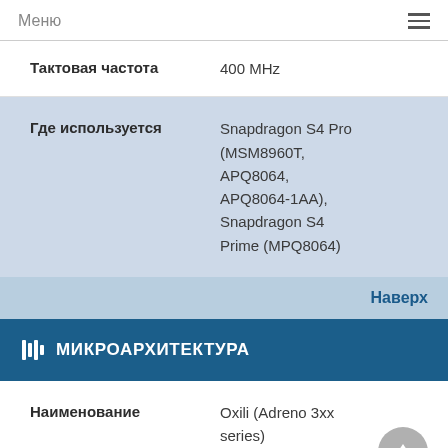Меню
| Тактовая частота | 400 MHz |
| --- | --- |
| Где используется | Snapdragon S4 Pro (MSM8960T, APQ8064, APQ8064-1AA), Snapdragon S4 Prime (MPQ8064) |
| --- | --- |
Наверх
МИКРОАРХИТЕКТУРА
| Наименование | Oxili (Adreno 3xx series) |
| --- | --- |